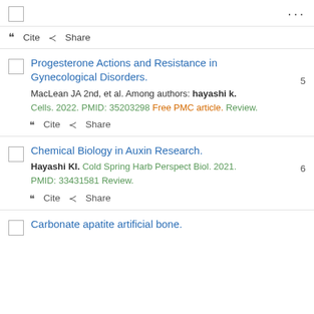Progesterone Actions and Resistance in Gynecological Disorders. MacLean JA 2nd, et al. Among authors: hayashi k. Cells. 2022. PMID: 35203298 Free PMC article. Review.
Chemical Biology in Auxin Research. Hayashi KI. Cold Spring Harb Perspect Biol. 2021. PMID: 33431581 Review.
Carbonate apatite artificial bone.